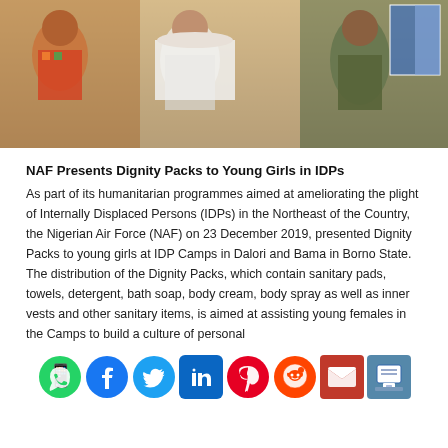[Figure (photo): Photo of people at IDP camp distribution event, showing individuals in colorful clothing and military uniform holding items with flags visible in background]
NAF Presents Dignity Packs to Young Girls in IDPs
As part of its humanitarian programmes aimed at ameliorating the plight of Internally Displaced Persons (IDPs) in the Northeast of the Country, the Nigerian Air Force (NAF) on 23 December 2019, presented Dignity Packs to young girls at IDP Camps in Dalori and Bama in Borno State. The distribution of the Dignity Packs, which contain sanitary pads, towels, detergent, bath soap, body cream, body spray as well as inner vests and other sanitary items, is aimed at assisting young females in the Camps to build a culture of personal
[Figure (infographic): Social media sharing icons row: WhatsApp (green), Facebook (dark blue), Twitter (light blue), LinkedIn (dark blue), Pinterest (red), Reddit (orange-red), Email (dark red), Print (blue-grey)]